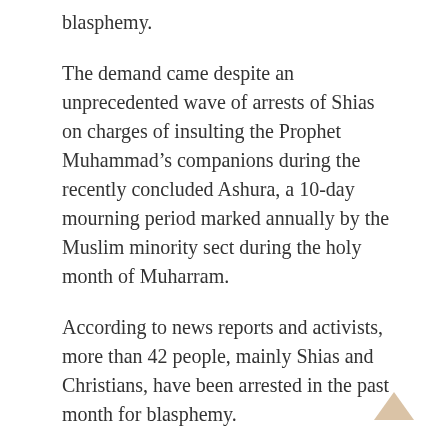blasphemy.
The demand came despite an unprecedented wave of arrests of Shias on charges of insulting the Prophet Muhammad’s companions during the recently concluded Ashura, a 10-day mourning period marked annually by the Muslim minority sect during the holy month of Muharram.
According to news reports and activists, more than 42 people, mainly Shias and Christians, have been arrested in the past month for blasphemy.
Shias, who make up 15 percent of Pakistan’s 220 million population, commemorate the seventh-century massacre of the Prophet Muhammad’s grandson Imam Husayn and his family and friends at the Battle of Karbala in Iraq for refusing to pledge allegiance to the then Muslim ruler Yazid ibn